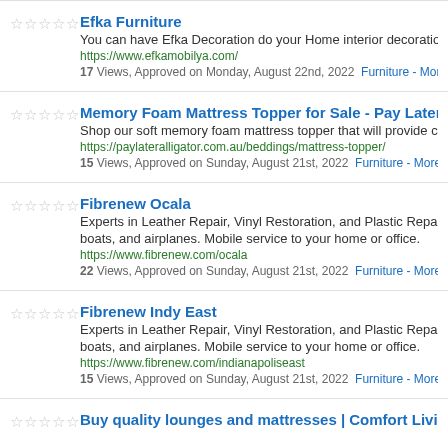Efka Furniture
You can have Efka Decoration do your Home interior decoration, Kit
https://www.efkamobilya.com/
17 Views, Approved on Monday, August 22nd, 2022 Furniture - More Details
Memory Foam Mattress Topper for Sale - Pay Later Alligator
Shop our soft memory foam mattress topper that will provide comfor
https://paylateralligator.com.au/beddings/mattress-topper/
15 Views, Approved on Sunday, August 21st, 2022 Furniture - More Details
Fibrenew Ocala
Experts in Leather Repair, Vinyl Restoration, and Plastic Repair in O
boats, and airplanes. Mobile service to your home or office.
https://www.fibrenew.com/ocala
22 Views, Approved on Sunday, August 21st, 2022 Furniture - More Details
Fibrenew Indy East
Experts in Leather Repair, Vinyl Restoration, and Plastic Repair in La
boats, and airplanes. Mobile service to your home or office.
https://www.fibrenew.com/indianapoliseast
15 Views, Approved on Sunday, August 21st, 2022 Furniture - More Details
Buy quality lounges and mattresses | Comfort Living